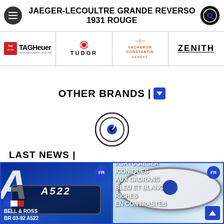JAEGER-LECOULTRE GRANDE REVERSO 1931 ROUGE
[Figure (logo): Watch review website logo icon (circular dark logo)]
[Figure (logo): TAG Heuer brand logo]
[Figure (logo): Tudor brand logo with shield]
[Figure (logo): Vacheron Constantin brand logo]
[Figure (logo): Zenith brand logo]
OTHER BRANDS |
[Figure (logo): Circular watch review website logo]
LAST NEWS |
[Figure (photo): Bell & Ross BR 03-92 A522 watch with Alpine Formula 1 A522 branding on blue background, French flag stripes]
[Figure (photo): IWC watch - Portugieser with white and blue dials on light blue background]